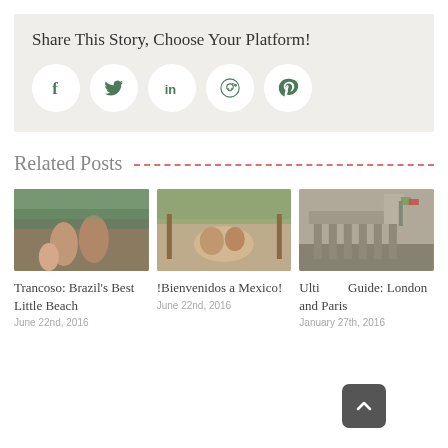Share This Story, Choose Your Platform!
[Figure (infographic): Five social media share buttons in circles: Facebook (f), Twitter (bird), LinkedIn (in), Reddit (alien), Pinterest (p)]
Related Posts
[Figure (photo): Family with child at outdoor market or garden]
Trancoso: Brazil's Best Little Beach
June 22nd, 2016
[Figure (photo): Baby in a hammock outdoors]
!Bienvenidos a Mexico!
June 22nd, 2016
[Figure (photo): Classical building facade with columns and flags, London]
Ultimate Guide: London and Paris
January 27th, 2016